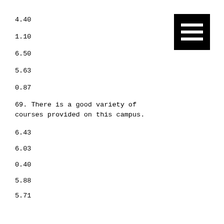4.40
1.10
6.50
5.63
0.87
69. There is a good variety of courses provided on this campus.
6.43
6.03
0.40
5.88
5.71
0.17
5.33
5.33
[Figure (infographic): Menu/hamburger icon — three white horizontal bars on black square background]